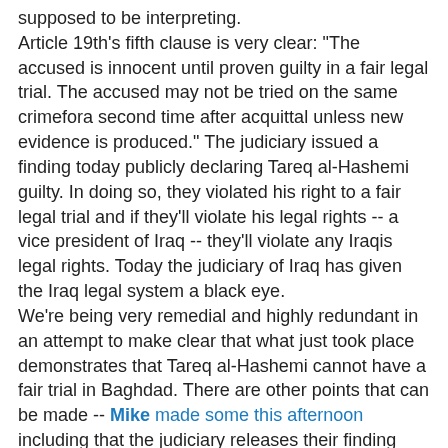supposed to be interpreting.
Article 19th's fifth clause is very clear: "The accused is innocent until proven guilty in a fair legal trial. The accused may not be tried on the same crimefora second time after acquittal unless new evidence is produced." The judiciary issued a finding today publicly declaring Tareq al-Hashemi guilty. In doing so, they violated his right to a fair legal trial and if they'll violate his legal rights -- a vice president of Iraq -- they'll violate any Iraqis legal rights. Today the judiciary of Iraq has given the Iraq legal system a black eye.
We're being very remedial and highly redundant in an attempt to make clear that what just took place demonstrates that Tareq al-Hashemi cannot have a fair trial in Baghdad. There are other points that can be made -- Mike made some this afternoon including that the judiciary releases their finding and provides no evidence -- but in terms of the news value of these events, the news value is that Tareq al-Hashemi's repeated assertions that he would not receive a fair trial in Baghdad have been proven to be correct as evidenced by the fact that, without a trial -- without even a defense, nine members of the Baghdad judiciary have declared him guilty.
So what's going on Iraq? How did a vice president (now in his second term) end up charged with terrorism? Marina Ottaway and Danial Kaysi's [PDF format warning] "The State Of Iraq" (Carnegie Endowment for International Peace) offers a few clues. From the opening summary:
Within days of the official ceremonies marking the end of the U.S. mission in Iraq, Prime Minister Nouri al-Maliki moved to indict Vice President Tariq al-Hashemi on terrorism charges and sought to